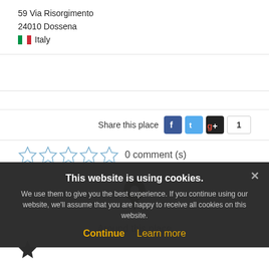59 Via Risorgimento
24010 Dossena
Italy
[Figure (infographic): Share this place row with Facebook, Twitter, Google+ buttons and count box showing 1]
[Figure (infographic): Five empty star rating icons followed by '0 comment (s)' text]
[Figure (infographic): Map pin icon above 'Around this place' text]
This website is using cookies.
We use them to give you the best experience. If you continue using our website, we'll assume that you are happy to receive all cookies on this website.
Continue
Learn more